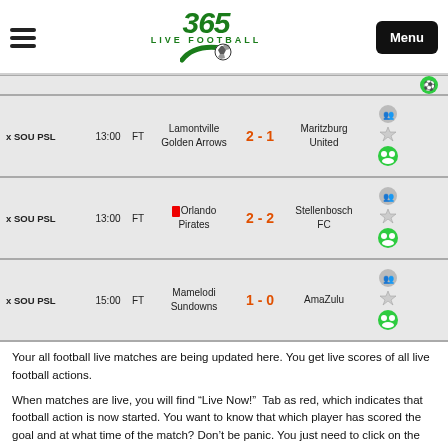[Figure (logo): 365 Live Football logo with soccer ball, hamburger menu icon on left, Menu button on right]
| League | Time | Status | Home Team | Score | Away Team | Icons |
| --- | --- | --- | --- | --- | --- | --- |
| x SOU PSL | 13:00 | FT | Lamontville Golden Arrows | 2 - 1 | Maritzburg United | icons |
| x SOU PSL | 13:00 | FT | Orlando Pirates [red card] | 2 - 2 | Stellenbosch FC | icons |
| x SOU PSL | 15:00 | FT | Mamelodi Sundowns | 1 - 0 | AmaZulu | icons |
Your all football live matches are being updated here. You get live scores of all live football actions.
When matches are live, you will find “Live Now!”  Tab as red, which indicates that football action is now started. You want to know that which player has scored the goal and at what time of the match? Don’t be panic. You just need to click on the score that is shown at center of two teams. A